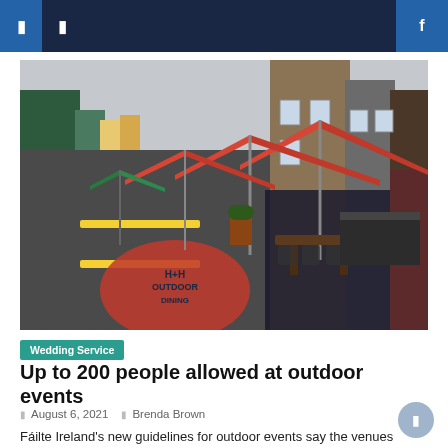Navigation bar with menu icons and search
[Figure (photo): Street scene with outdoor dining area. Red canopy umbrellas and folding chairs set up along a city street. Colorful building facades visible. A large red painted circle on the road reads 'OUTDOOR DINING'. Green umbrella visible further down the street.]
Wedding Service
Up to 200 people allowed at outdoor events
August 6, 2021   Brenda Brown
Fáilte Ireland's new guidelines for outdoor events say the venues can now accommodate a maximum of 200 people